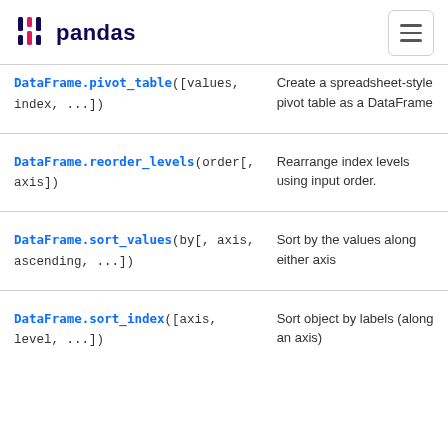pandas
| Method | Description |
| --- | --- |
| DataFrame.pivot_table([values, index, ...]) | Create a spreadsheet-style pivot table as a DataFrame |
| DataFrame.reorder_levels(order[, axis]) | Rearrange index levels using input order. |
| DataFrame.sort_values(by[, axis, ascending, ...]) | Sort by the values along either axis |
| DataFrame.sort_index([axis, level, ...]) | Sort object by labels (along an axis) |